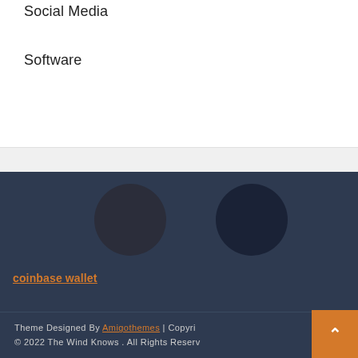Social Media
Software
coinbase wallet
Theme Designed By Amigothemes | Copyright © 2022 The Wind Knows . All Rights Reserved